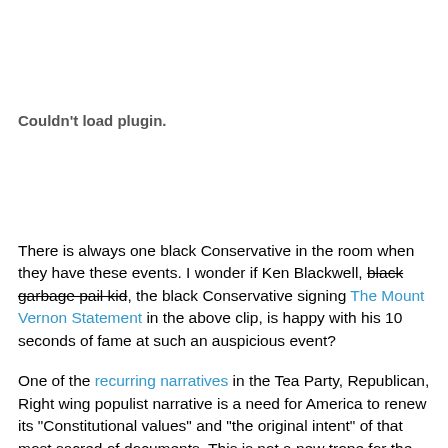[Figure (other): Plugin placeholder box showing 'Couldn't load plugin.' message]
There is always one black Conservative in the room when they have these events. I wonder if Ken Blackwell, black garbage pail kid, the black Conservative signing The Mount Vernon Statement in the above clip, is happy with his 10 seconds of fame at such an auspicious event?
One of the recurring narratives in the Tea Party, Republican, Right wing populist narrative is a need for America to renew its "Constitutional values" and "the original intent" of that most sacred of documents. This is not a new trope for the